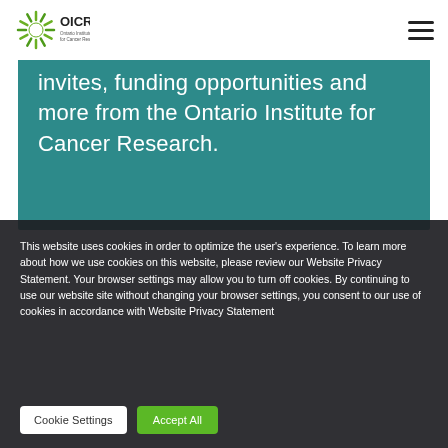[Figure (logo): OICR – Ontario Institute for Cancer Research logo with green sunburst icon]
invites, funding opportunities and more from the Ontario Institute for Cancer Research.
This website uses cookies in order to optimize the user's experience. To learn more about how we use cookies on this website, please review our Website Privacy Statement. Your browser settings may allow you to turn off cookies. By continuing to use our website site without changing your browser settings, you consent to our use of cookies in accordance with Website Privacy Statement
Cookie Settings
Accept All